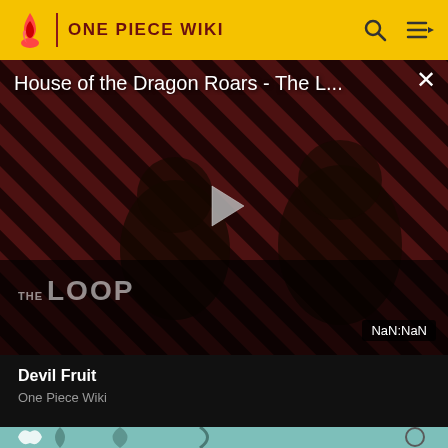ONE PIECE WIKI
[Figure (screenshot): Video player showing 'House of the Dragon Roars - The L...' with a dark background of diagonal stripes in red/dark, two shadowy figures visible, a play button in center, The Loop logo at bottom left, NaN:NaN timestamp at bottom right, and an X close button top right]
Devil Fruit
One Piece Wiki
[Figure (illustration): Anime-style illustration showing a character's torso with a white leafy/floral tattoo or mark on the chest/shoulder area, teal/turquoise background with dark leaf shapes, and a circular object visible at the right edge]